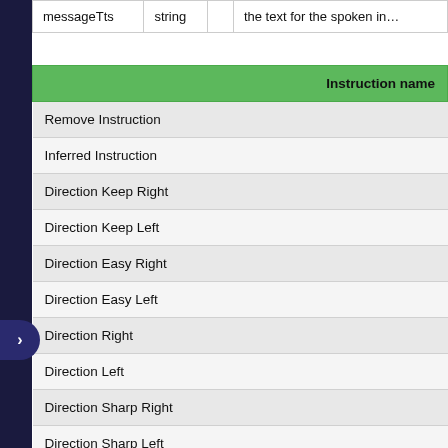|  | string |  | the text for the spoken in... |
| --- | --- | --- | --- |
| messageTts | string |  | the text for the spoken in... |
| Instruction name |
| --- |
| Remove Instruction |
| Inferred Instruction |
| Direction Keep Right |
| Direction Keep Left |
| Direction Easy Right |
| Direction Easy Left |
| Direction Right |
| Direction Left |
| Direction Sharp Right |
| Direction Sharp Left |
| Direction Straight |